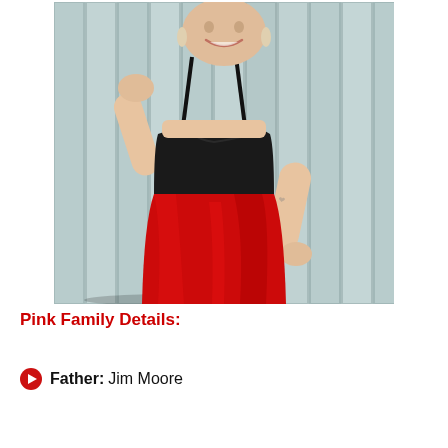[Figure (photo): A bald woman smiling, wearing a black crop top and a red shiny pencil skirt, posing against a light blue wooden plank background.]
Pink Family Details:
Father: Jim Moore